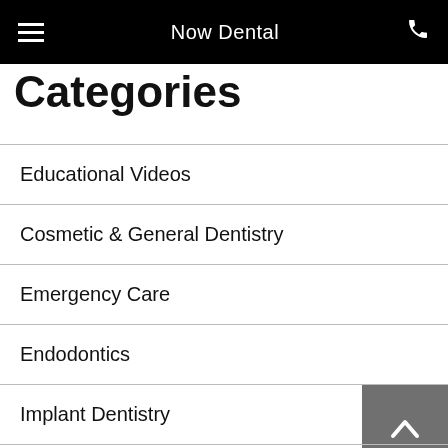Now Dental
Categories
Educational Videos
Cosmetic & General Dentistry
Emergency Care
Endodontics
Implant Dentistry
Oral Health
Oral Hygiene